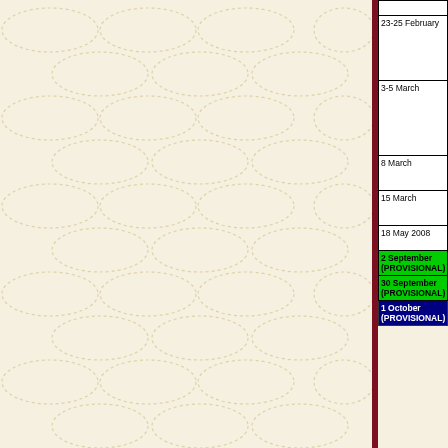[Figure (illustration): Decorative left panel with cream/beige background and repeating oval/ellipse watermark pattern in dashed lines, with a dark red vertical stripe on the right edge]
| Date | Day | Event |
| --- | --- | --- |
| 23-25 February | Saturday - Monday | Asian Symposium on Women and Peace (truncated) |
| 3-5 March | Monday - Wednesday | Gri... Res... Con... Ch... Opp... Isla... The... (truncated) |
| 8 March | Saturday | : "T... Ha... Eve... |
| 15 March | Saturday | Ch... Irac... orp... |
| 18 May 2008 | Sunday | Cre... Ann... |
| 2 September (PROVISIONAL) | Tuesday |  |
| 30 September (PROVISIONAL) | Tuesday |  |
| 1 October (PROVISIONAL) | Wednesday |  |